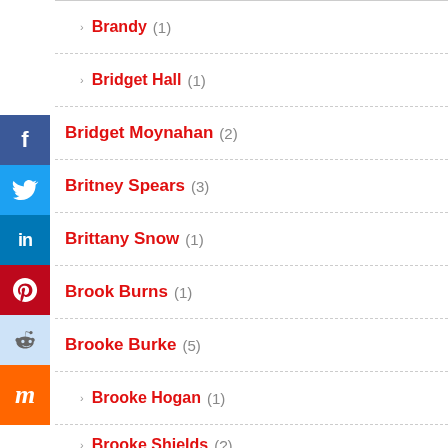Brandy (1)
Bridget Hall (1)
Bridget Moynahan (2)
Britney Spears (3)
Brittany Snow (1)
Brook Burns (1)
Brooke Burke (5)
Brooke Hogan (1)
Brooke Shields (?)